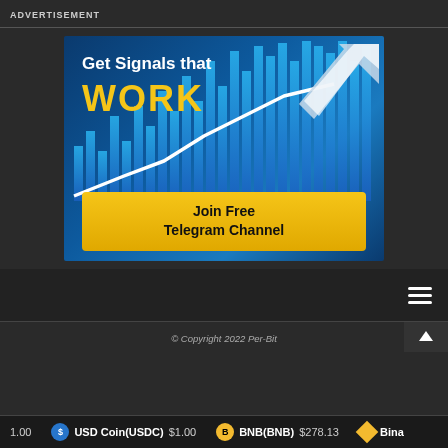ADVERTISEMENT
[Figure (illustration): Advertisement banner showing financial trading chart with upward arrow and text 'Get Signals that WORK' with a golden 'Join Free Telegram Channel' button overlay]
© Copyright 2022 Per-Bit
USD Coin(USDC) $1.00   BNB(BNB) $278.13   Bina...